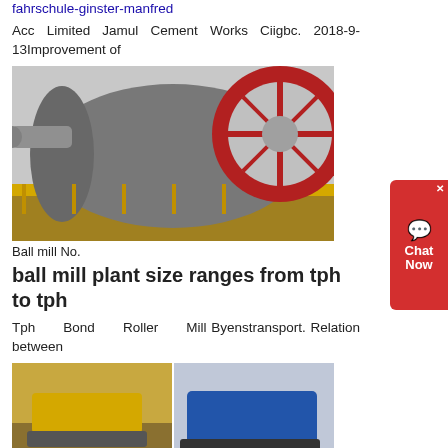fahrschule-ginster-manfred
Acc Limited Jamul Cement Works Ciigbc. 2018-9-13Improvement of
[Figure (photo): Industrial ball mill with large red gear wheel, grey cylindrical drum, pipes and yellow safety railings in a cement plant setting.]
Ball mill No.
ball mill plant size ranges from tph to tph
Tph Bond Roller Mill Byenstransport. Relation between
[Figure (photo): Four-panel collage of heavy mining/construction machinery: top-left yellow crawler, top-right blue tracked crusher, bottom-left yellow conveyor/screening plant, bottom-center red mobile crusher, bottom-right pile of rocks.]
india.Mobile roll
50 tph ball mill for rock - vierenmetzorg
50 tph ball mill for rock - numismaticaleuven. 20 to 30 TPH